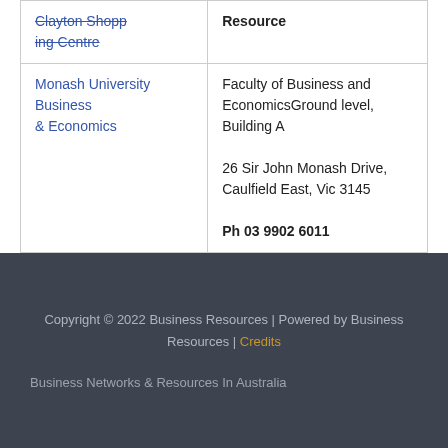| Clayton Shopping Centre | Resource |
| Monash University Business & Economics | Faculty of Business and EconomicsGround level, Building A
26 Sir John Monash Drive, Caulfield East, Vic 3145
Ph 03 9902 6011 |
Copyright © 2022 Business Resources | Powered by Business Resources | Credits

Business Networks & Resources In Australia